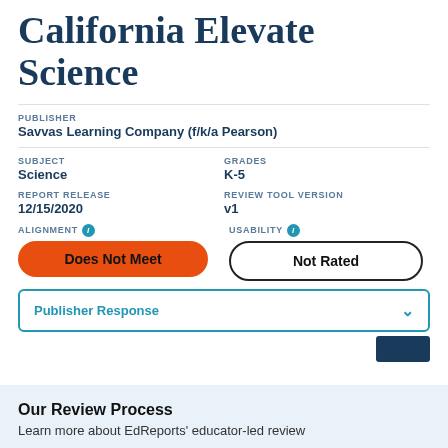California Elevate Science
PUBLISHER
Savvas Learning Company (f/k/a Pearson)
SUBJECT
Science
GRADES
K-5
REPORT RELEASE
12/15/2020
REVIEW TOOL VERSION
v1
ALIGNMENT
Does Not Meet
USABILITY
Not Rated
Publisher Response
Our Review Process
Learn more about EdReports' educator-led review